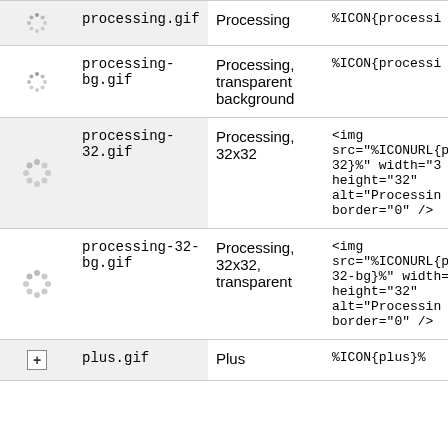| Icon | Filename | Description | Usage |
| --- | --- | --- | --- |
| [spinner] | processing.gif | Processing | %ICON{processi... |
| [spinner] | processing-bg.gif | Processing, transparent background | %ICON{processi... |
| [spinner-32] | processing-32.gif | Processing, 32x32 | <img src="%ICONURL{...32}%" width="32" height="32" alt="Processing... border="0" /> |
| [spinner-32] | processing-32-bg.gif | Processing, 32x32, transparent | <img src="%ICONURL{...32-bg}%" width=... height="32" alt="Processing... border="0" /> |
| [+] | plus.gif | Plus | %ICON{plus}% |